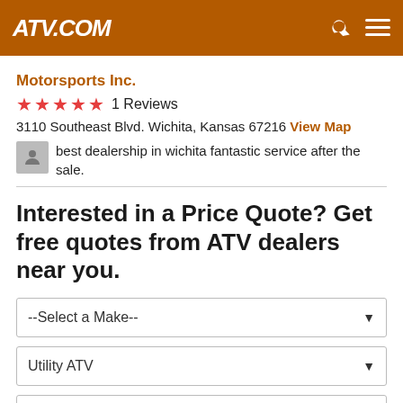ATV.COM
Motorsports Inc.
★★★★★ 1 Reviews
3110 Southeast Blvd. Wichita, Kansas 67216 View Map
best dealership in wichita fantastic service after the sale.
Interested in a Price Quote? Get free quotes from ATV dealers near you.
--Select a Make--
Utility ATV
--Select a Vehicle--